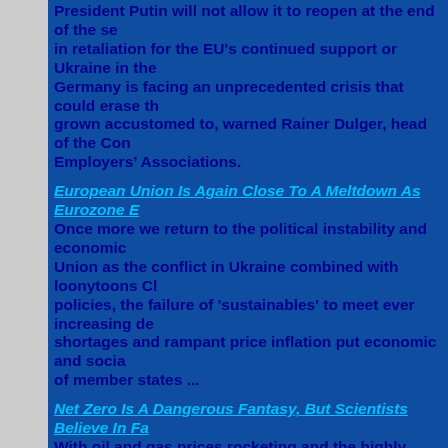President Putin will not allow it to reopen at the end of the se... in retaliation for the EU's continued support or Ukraine in the... Germany is facing an unprecedented crisis that could erase th... grown accustomed to, warned Rainer Dulger, head of the Con... Employers' Associations.
European Union Is Again Close To A Meltdown As Eurozone E...
Once more we return to the political instability and economic... Union as the conflict in Ukraine combined with loonytoons Cl... policies, the failure of 'sustainables' to meet ever increasing de... shortages and rampant price inflation put economic and socia... of member states ...
Net Zero Is A Dangerous Fantasy, But Scientists Believe In Fa...
With oil and gas prices rocketing and the highly propted susta... performing way befow expectations the energy crisis currently... worse to come as food shortages start to bite, polticians still se... pandering to the green lobby and chasing the dream of a fossi... securing the energy and food supplies needed by the people th...
The Federal Republic of New Normal Germany
So, the government of New Normal Germany is contemplating... medical-looking masks in public from October to Easter on a p... fanatical New Normal fascists currently in charge of Germany... discussing revising the “Infection Protection Act” in orde... authority to continue to rule the country by decree, as they h...